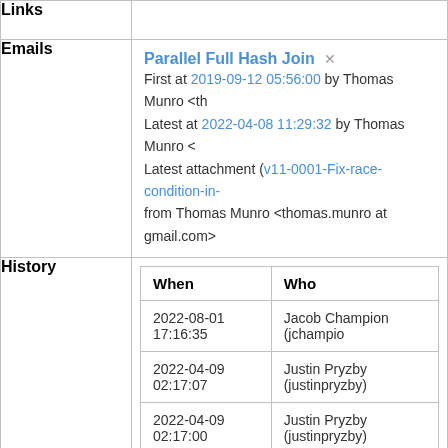| Links |  |
| Emails | Parallel Full Hash Join ×
First at 2019-09-12 05:56:00 by Thomas Munro <th
Latest at 2022-04-08 11:29:32 by Thomas Munro <
Latest attachment (v11-0001-Fix-race-condition-in-
from Thomas Munro <thomas.munro at gmail.com> |
| History | When | Who
2022-08-01 17:16:35 | Jacob Champion (jchampio
2022-04-09 02:17:07 | Justin Pryzby (justinpryzby)
2022-04-09 02:17:00 | Justin Pryzby (justinpryzby)
2022-04-09 02:17:00 | Justin Pryzby (justinpryzby)
2022-04-08 11:30:23 | Thomas Munro (macdice) |
Edit  Comment/Review ▾  Change Status ▾